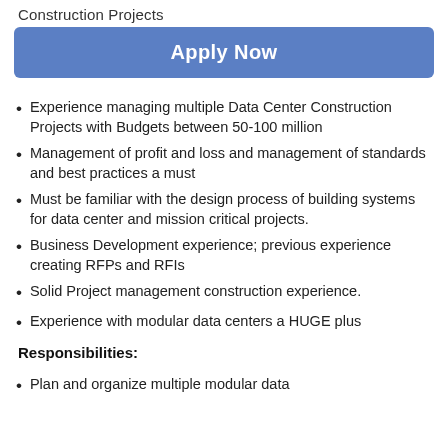Construction Projects
Apply Now
Experience managing multiple Data Center Construction Projects with Budgets between 50-100 million
Management of profit and loss and management of standards and best practices a must
Must be familiar with the design process of building systems for data center and mission critical projects.
Business Development experience; previous experience creating RFPs and RFIs
Solid Project management construction experience.
Experience with modular data centers a HUGE plus
Responsibilities:
Plan and organize multiple modular data